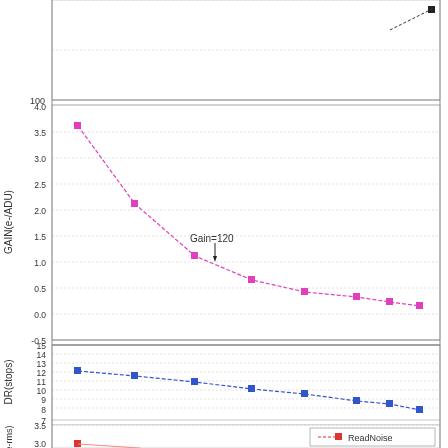[Figure (continuous-plot): Multi-panel scientific chart showing three vertically stacked plots. Top partial panel: a curve ending at top right with a black square marker around value ~140. Middle panel: GAIN(e-/ADU) vs gain setting, pink/magenta line with square markers, decreasing from ~3.6 at low gain to ~0.1 at high gain, with annotation 'Gain=120'. Bottom panel: DR(stops) vs gain setting, blue dashed line with square markers, decreasing from ~12.2 to ~8.1. Partial bottom panel: ReadNoise (e-rms) starting at ~3.0 with red square marker and legend showing 'ReadNoise'.]